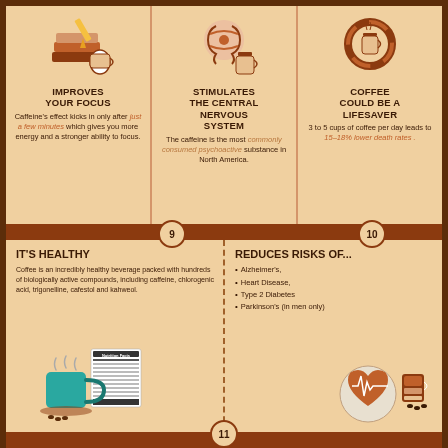[Figure (infographic): Infographic panel: Improves Your Focus - illustration of books and study items]
IMPROVES YOUR FOCUS
Caffeine's effect kicks in only after just a few minutes which gives you more energy and a stronger ability to focus.
[Figure (infographic): Infographic panel: Stimulates The Central Nervous System - illustration of brain/neural symbol]
STIMULATES THE CENTRAL NERVOUS SYSTEM
The caffeine is the most commonly consumed psychoactive substance in North America.
[Figure (infographic): Infographic panel: Coffee Could Be A Lifesaver - illustration of life preserver ring with coffee cup]
COFFEE COULD BE A LIFESAVER
3 to 5 cups of coffee per day leads to 15-18% lower death rates.
IT'S HEALTHY
Coffee is an incredibly healthy beverage packed with hundreds of biologically active compounds, including caffeine, chlorogenic acid, trigonelline, cafestol and kahweol.
[Figure (illustration): Illustration of a steaming teal coffee mug with nutrition facts label beside it]
REDUCES RISKS OF...
Alzheimer's,
Heart Disease,
Type 2 Diabetes
Parkinson's (in men only)
[Figure (illustration): Illustration of a heart with pulse symbol and coffee cups]